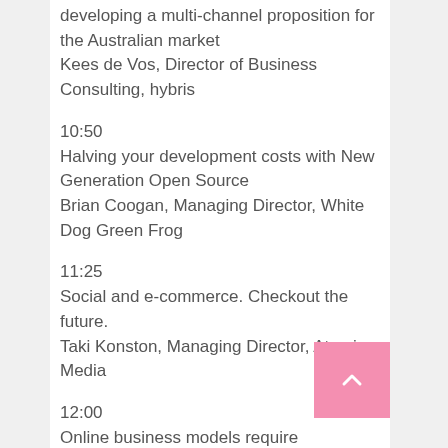developing a multi-channel proposition for the Australian market
Kees de Vos, Director of Business Consulting, hybris
10:50
Halving your development costs with New Generation Open Source
Brian Coogan, Managing Director, White Dog Green Frog
11:25
Social and e-commerce. Checkout the future.
Taki Konston, Managing Director, Atomic Media
12:00
Online business models require